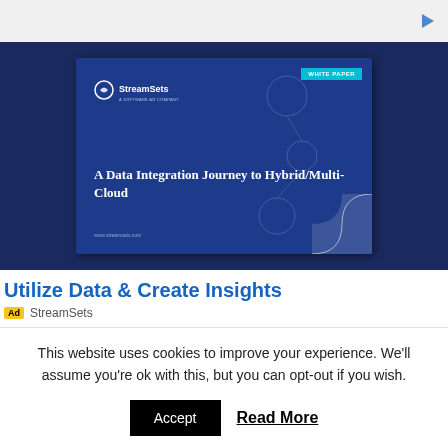[Figure (screenshot): Advertisement screenshot showing StreamSets white paper cover titled 'A Data Integration Journey to Hybrid/Multi-Cloud' on dark blue background with page curl effect]
Utilize Data & Create Insights
Ad  StreamSets
This website uses cookies to improve your experience. We'll assume you're ok with this, but you can opt-out if you wish.
Accept  Read More